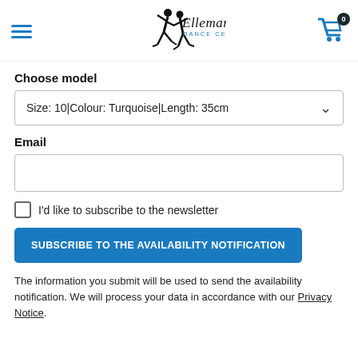Ellemane Dance Center - navigation header with logo and cart
Choose model
Size: 10|Colour: Turquoise|Length: 35cm
Email
I'd like to subscribe to the newsletter
SUBSCRIBE TO THE AVAILABILITY NOTIFICATION
The information you submit will be used to send the availability notification. We will process your data in accordance with our Privacy Notice.